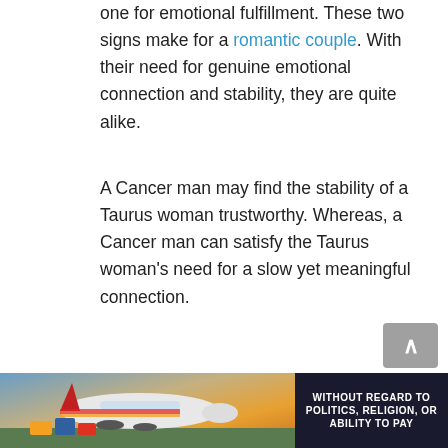one for emotional fulfillment. These two signs make for a romantic couple. With their need for genuine emotional connection and stability, they are quite alike.
A Cancer man may find the stability of a Taurus woman trustworthy. Whereas, a Cancer man can satisfy the Taurus woman's need for a slow yet meaningful connection.
A Taurus woman can tend to her need for physical satisfaction by her ability to take the lead with a Cancer man. Here she might become the one taking action. But as the Cancer man will also work for his need for complete emotional satisfaction
[Figure (photo): Advertisement banner at the bottom showing an airplane being loaded with cargo, with text overlay 'WITHOUT REGARD TO POLITICS, RELIGION, OR ABILITY TO PAY']